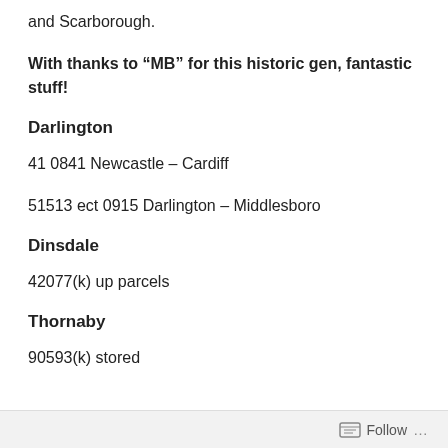and Scarborough.
With thanks to “MB” for this historic gen, fantastic stuff!
Darlington
41 0841 Newcastle – Cardiff
51513 ect 0915 Darlington – Middlesboro
Dinsdale
42077(k) up parcels
Thornaby
90593(k) stored
Follow ...